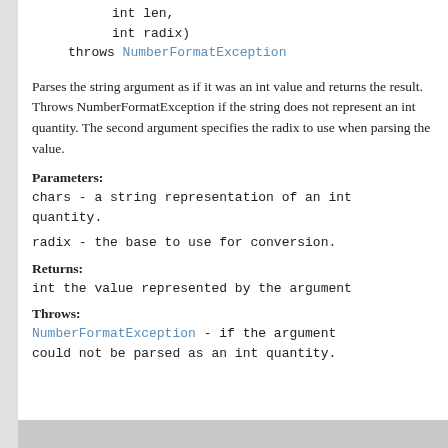int len,
    int radix)
throws NumberFormatException
Parses the string argument as if it was an int value and returns the result. Throws NumberFormatException if the string does not represent an int quantity. The second argument specifies the radix to use when parsing the value.
Parameters:
chars - a string representation of an int quantity.
radix - the base to use for conversion.
Returns:
int the value represented by the argument
Throws:
NumberFormatException - if the argument could not be parsed as an int quantity.